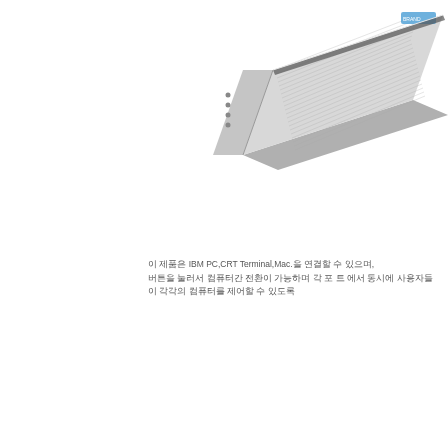[Figure (photo): A grey elongated hardware device (likely a KVM switch or similar connector/switch unit) shown at an angle, with a ribbed top surface, small buttons or LEDs on the front face, and a brand logo visible. The device appears to be a data switch or terminal server.]
이 제품은 IBM PC,CRT Terminal,Mac.을 연결할 수 있으며, 버튼을 눌러서 컴퓨터간 전환이 가능하며 각 포 트 에서 동시에 사용자들이 각각의 컴퓨터를 제어할 수 있도록